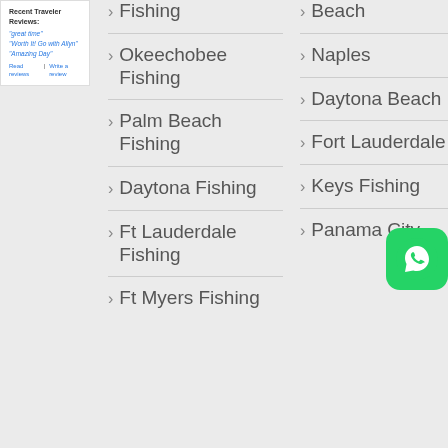[Figure (screenshot): Sidebar widget showing recent traveler reviews: 'great time', 'Worth It! Go with Allyn', 'Amazing Day', with 'Read reviews' and 'Write a review' buttons.]
Fishing
Okeechobee Fishing
Palm Beach Fishing
Daytona Fishing
Ft Lauderdale Fishing
Ft Myers Fishing
Beach
Naples
Daytona Beach
Fort Lauderdale
Keys Fishing
Panama City